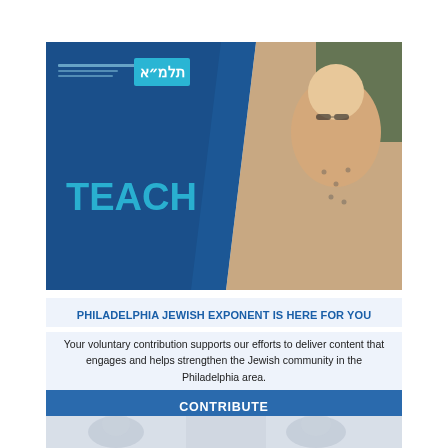[Figure (illustration): Banner image split diagonally: left side is dark blue with Hebrew/English logo 'Talmud' at top and large teal text 'TEACH' in lower half; right side shows a photo of a woman with glasses looking down, in a polka-dot blouse, with a green chalkboard background.]
PHILADELPHIA JEWISH EXPONENT IS HERE FOR YOU
Your voluntary contribution supports our efforts to deliver content that engages and helps strengthen the Jewish community in the Philadelphia area.
CONTRIBUTE
[Figure (photo): Partial bottom strip showing faded/blurred faces of people, light gray-blue toned.]